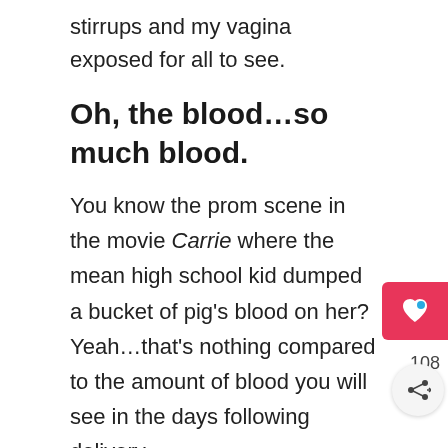stirrups and my vagina exposed for all to see.
Oh, the blood…so much blood.
You know the prom scene in the movie Carrie where the mean high school kid dumped a bucket of pig's blood on her? Yeah…that's nothing compared to the amount of blood you will see in the days following delivery.
And what makes it even more fun is the gigantic boat of a maxi pad that the hospital